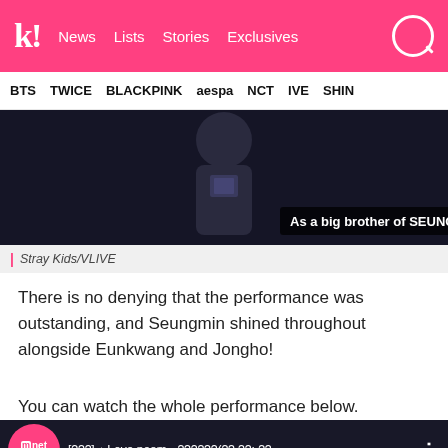Koreaboo | News   Lists   Stories   Exclusives
BTS   TWICE   BLACKPINK   aespa   NCT   IVE   SHINee
[Figure (screenshot): Dark video screenshot showing a person with subtitle text 'As a big brother of SEUNGMIN,' overlaid on the image. Below image is a caption bar reading '| Stray Kids/VLIVE']
| Stray Kids/VLIVE
There is no denying that the performance was outstanding, and Seungmin shined throughout alongside Eunkwang and Jongho!
You can watch the whole performance below.
[Figure (screenshot): Mnet K-POP YouTube video thumbnail with text: [???] ♪ Love poem - ??????(?? ??: ??, ...]